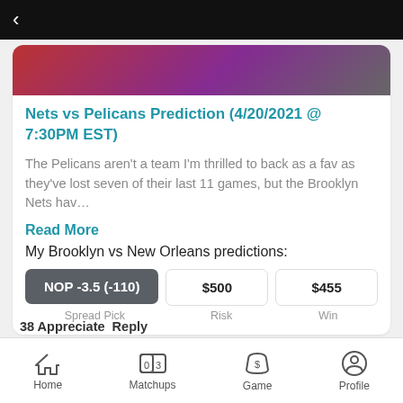< (back navigation)
[Figure (photo): Partial sports photo showing a player in red with purple/dark background]
Nets vs Pelicans Prediction (4/20/2021 @ 7:30PM EST)
The Pelicans aren't a team I'm thrilled to back as a fav as they've lost seven of their last 11 games, but the Brooklyn Nets hav…
Read More
My Brooklyn vs New Orleans predictions:
| Spread Pick | Risk | Win |
| --- | --- | --- |
| NOP -3.5 (-110) | $500 | $455 |
38 Appreciate  Reply
Home  Matchups  Game  Profile